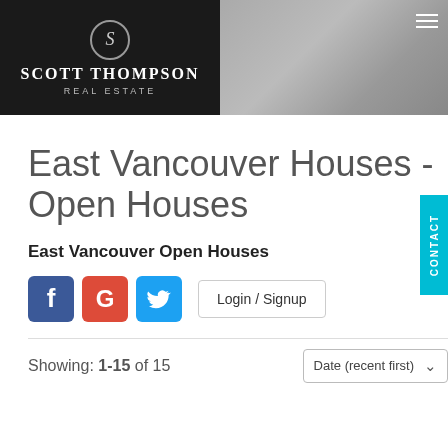[Figure (screenshot): Scott Thompson Real Estate website header with black logo panel on left showing 'SCOTT THOMPSON REAL ESTATE' and a blurred interior room photo on the right with hamburger menu icon]
East Vancouver Houses - Open Houses
East Vancouver Open Houses
[Figure (infographic): Social login buttons: Facebook (blue), Google+ (red), Twitter (blue), and a Login / Signup button]
Showing: 1-15 of 15
Date (recent first)